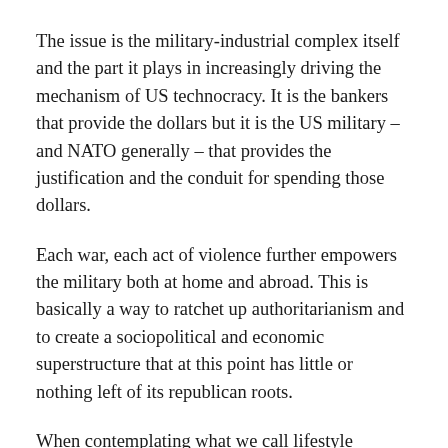The issue is the military-industrial complex itself and the part it plays in increasingly driving the mechanism of US technocracy. It is the bankers that provide the dollars but it is the US military – and NATO generally – that provides the justification and the conduit for spending those dollars.
Each war, each act of violence further empowers the military both at home and abroad. This is basically a way to ratchet up authoritarianism and to create a sociopolitical and economic superstructure that at this point has little or nothing left of its republican roots.
When contemplating what we call lifestyle insurance – the ability (in part) to be able to travel and live in other countries – the evolution of the US military-industrial complex ought to be taken into account.
Modern militarism seems to feed on what we call false flags. The Russians, for instance, are now fighting in Syria and claim